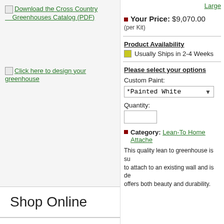Download the Cross Country Greenhouses Catalog (PDF)
Click here to design your greenhouse
Shop Online
Main Menu
Home
Cross Country Greenhouses
Large
Your Price: $9,070.00 (per Kit)
Product Availability
Usually Ships in 2-4 Weeks
Please select your options
Custom Paint:
*Painted White
Quantity:
Category: Lean-To Home Attache
This quality lean to greenhouse is su to attach to an existing wall and is de offers both beauty and durability.